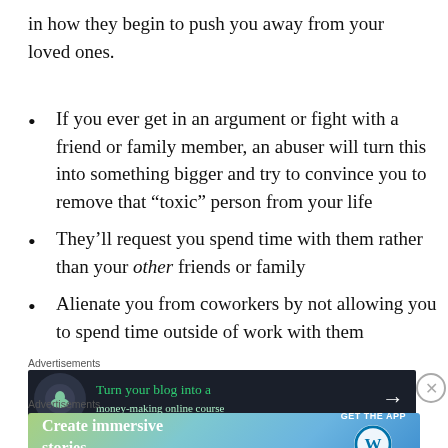in how they begin to push you away from your loved ones.
If you ever get in an argument or fight with a friend or family member, an abuser will turn this into something bigger and try to convince you to remove that “toxic” person from your life
They’ll request you spend time with them rather than your other friends or family
Alienate you from coworkers by not allowing you to spend time outside of work with them
Advertisements
[Figure (screenshot): Dark advertisement banner: Turn your blog into a money-making online course, with arrow]
Advertisements
[Figure (screenshot): Light gradient advertisement banner: Create immersive stories. GET THE APP with WordPress logo]